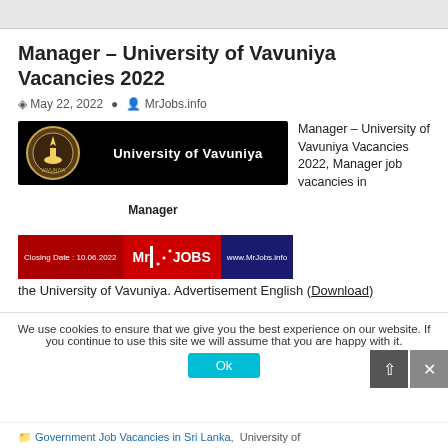Manager – University of Vavuniya Vacancies 2022
May 22, 2022   MrJobs.info
[Figure (illustration): University of Vavuniya banner with logo, title 'University of Vavuniya', 'Manager' label, MrJobs.info branding, and closing date 10.06.2022]
Manager – University of Vavuniya Vacancies 2022, Manager job vacancies in
the University of Vavuniya. Advertisement English (Download).
We use cookies to ensure that we give you the best experience on our website. If you continue to use this site we will assume that you are happy with it.
Government Job Vacancies in Sri Lanka, University of ...